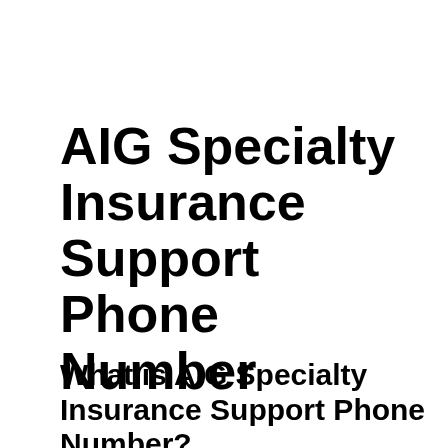AIG Specialty Insurance Support Phone Number
What is AIG Specialty Insurance Support Phone Number?